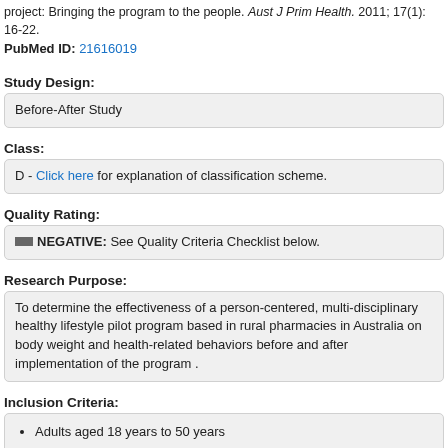project: Bringing the program to the people. Aust J Prim Health. 2011; 17(1): 16-22.
PubMed ID: 21616019
Study Design:
Before-After Study
Class:
D - Click here for explanation of classification scheme.
Quality Rating:
NEGATIVE: See Quality Criteria Checklist below.
Research Purpose:
To determine the effectiveness of a person-centered, multi-disciplinary healthy lifestyle pilot program based in rural pharmacies in Australia on body weight and health-related behaviors before and after implementation of the program .
Inclusion Criteria:
Adults aged 18 years to 50 years
Not currently accessing hospital-based health services
At least one risk factor for chronic disease development: